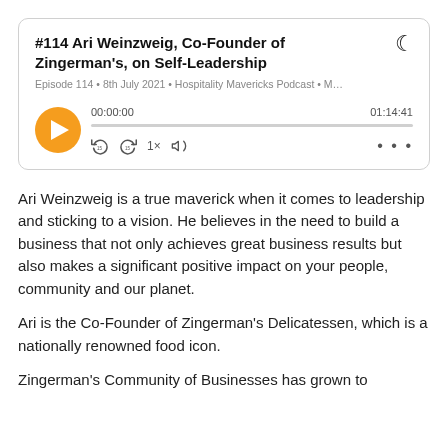[Figure (screenshot): Podcast player card for episode #114 'Ari Weinzweig, Co-Founder of Zingerman's, on Self-Leadership'. Shows episode metadata, play button, progress bar at 00:00:00 / 01:14:41, and playback controls.]
Ari Weinzweig is a true maverick when it comes to leadership and sticking to a vision. He believes in the need to build a business that not only achieves great business results but also makes a significant positive impact on your people, community and our planet.
Ari is the Co-Founder of Zingerman's Delicatessen, which is a nationally renowned food icon.
Zingerman's Community of Businesses has grown to